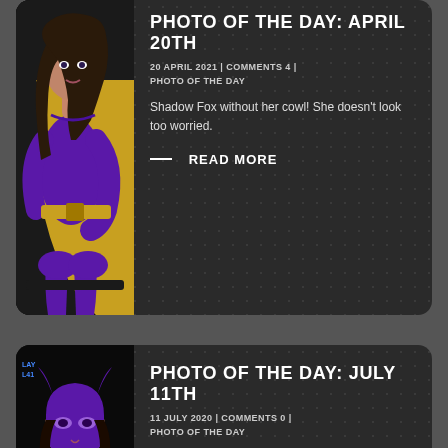[Figure (photo): Woman in purple superhero costume with gold belt and cape, sitting on a chair, long dark hair, no cowl/mask]
PHOTO OF THE DAY: APRIL 20TH
20 APRIL 2021 | COMMENTS 4 | PHOTO OF THE DAY
Shadow Fox without her cowl! She doesn't look too worried.
— READ MORE
[Figure (photo): Woman in purple bat costume with bat ears mask/cowl, long dark hair, partially visible]
PHOTO OF THE DAY: JULY 11TH
11 JULY 2020 | COMMENTS 0 | PHOTO OF THE DAY